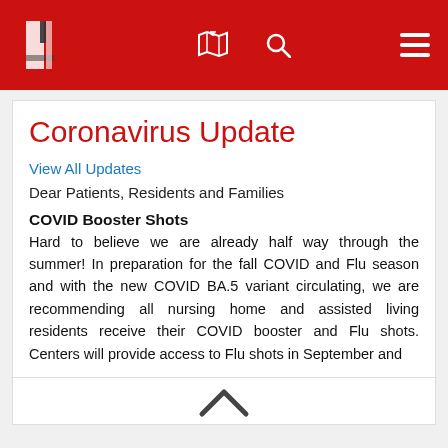Navigation header with logo, map icon, search icon, and hamburger menu
Coronavirus Update
View All Updates
Dear Patients, Residents and Families
COVID Booster Shots
Hard to believe we are already half way through the summer! In preparation for the fall COVID and Flu season and with the new COVID BA.5 variant circulating, we are recommending all nursing home and assisted living residents receive their COVID booster and Flu shots. Centers will provide access to Flu shots in September and